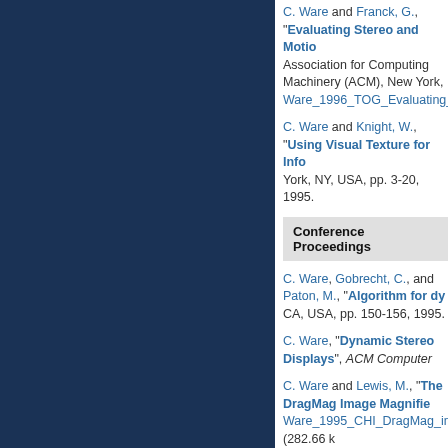C. Ware and Franck, G., “Evaluating Stereo and Motio...” Association for Computing Machinery (ACM), New York, Ware_1996_TOG_Evaluating_stereo_motion_cues_visualiz...
C. Ware and Knight, W., “Using Visual Texture for Info...” York, NY, USA, pp. 3-20, 1995.
Conference Proceedings
C. Ware, Gobrecht, C., and Paton, M., “Algorithm for dy...” CA, USA, pp. 150-156, 1995.
C. Ware, “Dynamic Stereo Displays”, ACM Computer...
C. Ware and Lewis, M., “The DragMag Image Magnifie...” Ware_1995_CHI_DragMag_image_magnifier.pdf (282.66 k...
R. Balakrishnan, Ware, C., and Smith, T., “Virtual Hand T...”
G. Franck and Ware, C., “Representing Nodes and Arc...”
M. Paton and Ware, C., “Passive Force Feedback for W...”
C. Ware and Franck, G., “Viewing a Graph in a Virtual...” Louis, MO, USA, pp. 182-183, 1994.